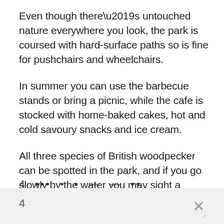Even though there’s untouched nature everywhere you look, the park is coursed with hard-surface paths so is fine for pushchairs and wheelchairs.
In summer you can use the barbecue stands or bring a picnic, while the cafe is stocked with home-baked cakes, hot and cold savoury snacks and ice cream.
All three species of British woodpecker can be spotted in the park, and if you go slowly by the water you may sight a kingfisher or otter.
4